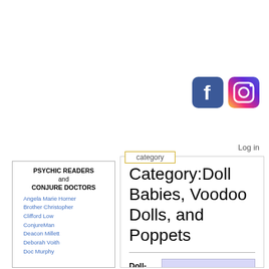[Figure (logo): Facebook icon - blue square with white F]
[Figure (logo): Instagram icon - colorful gradient camera square]
Log in
category
PSYCHIC READERS and CONJURE DOCTORS
Angela Marie Horner
Brother Christopher
Clifford Low
ConjureMan
Deacon Millett
Deborah Voith
Doc Murphy
Category:Doll Babies, Voodoo Dolls, and Poppets
Doll-